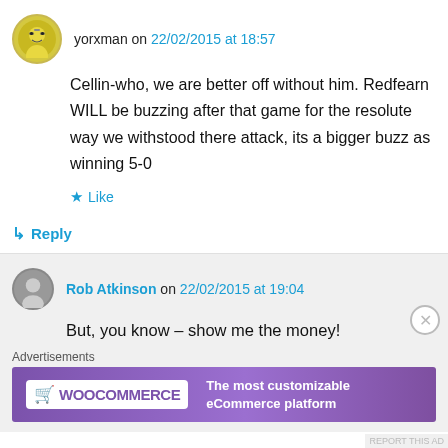yorxman on 22/02/2015 at 18:57
Cellin-who, we are better off without him. Redfearn WILL be buzzing after that game for the resolute way we withstood there attack, its a bigger buzz as winning 5-0
★ Like
↳ Reply
Rob Atkinson on 22/02/2015 at 19:04
But, you know – show me the money!
Advertisements
[Figure (screenshot): WooCommerce advertisement banner: purple background with WooCommerce logo on left and text 'The most customizable eCommerce platform' on right]